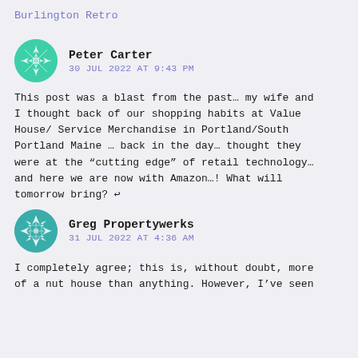Burlington Retro
Peter Carter
30 JUL 2022 AT 9:43 PM
This post was a blast from the past… my wife and I thought back of our shopping habits at Value House/ Service Merchandise in Portland/South Portland Maine … back in the day… thought they were at the “cutting edge” of retail technology… and here we are now with Amazon…! What will tomorrow bring? ↩
Greg Propertywerks
31 JUL 2022 AT 4:36 AM
I completely agree; this is, without doubt, more of a nut house than anything. However, I’ve seen